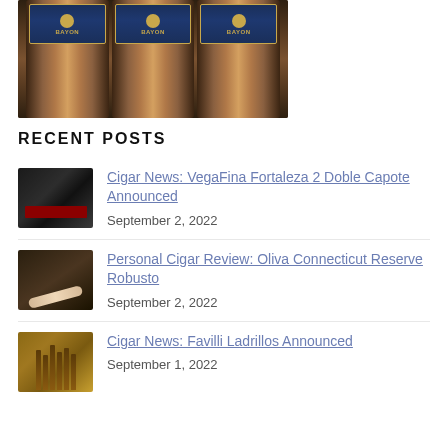[Figure (photo): Three dark brown cigars with blue and gold bands reading 'BAYON' arranged side by side]
RECENT POSTS
[Figure (photo): Thumbnail of dark box with red interior showing VegaFina cigars]
Cigar News: VegaFina Fortaleza 2 Doble Capote Announced
September 2, 2022
[Figure (photo): Thumbnail of Oliva Connecticut Reserve Robusto cigar on dark surface]
Personal Cigar Review: Oliva Connecticut Reserve Robusto
September 2, 2022
[Figure (photo): Thumbnail of Favilli Ladrillos cigars bundled together]
Cigar News: Favilli Ladrillos Announced
September 1, 2022